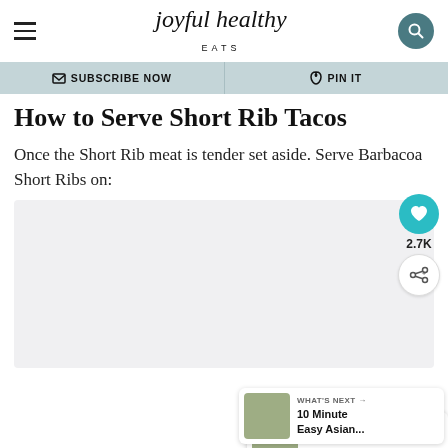joyful healthy EATS
✉ SUBSCRIBE NOW   𝗣 PIN IT
How to Serve Short Rib Tacos
Once the Short Rib meat is tender set aside. Serve Barbacoa Short Ribs on:
[Figure (photo): Image placeholder area for food photo]
2.7K
WHAT'S NEXT → 10 Minute Easy Asian...